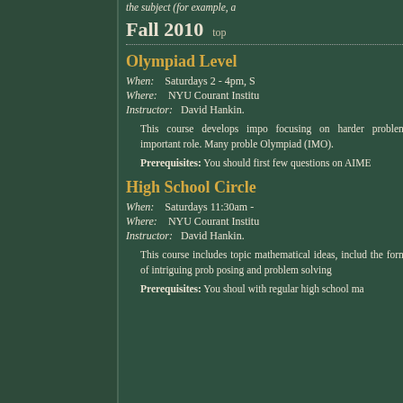the subject (for example, a
Fall 2010   top
Olympiad Level
When: Saturdays 2 - 4pm, S
Where: NYU Courant Institu
Instructor: David Hankin.
This course develops impo focusing on harder problem important role. Many probl Olympiad (IMO).
Prerequisites: You should first few questions on AIME
High School Circle
When: Saturdays 11:30am
Where: NYU Courant Institu
Instructor: David Hankin.
This course includes topic mathematical ideas, includ the form of intriguing prob posing and problem solving
Prerequisites: You shoul with regular high school ma